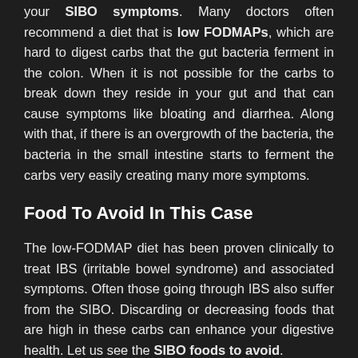your SIBO symptoms. Many doctors often recommend a diet that is low FODMAPs, which are hard to digest carbs that the gut bacteria ferment in the colon. When it is not possible for the carbs to break down they reside in your gut and that can cause symptoms like bloating and diarrhea. Along with that, if there is an overgrowth of the bacteria, the bacteria in the small intestine starts to ferment the carbs very easily creating many more symptoms.
Food To Avoid In This Case
The low-FODMAP diet has been proven clinically to treat IBS (irritable bowel syndrome) and associated symptoms. Often those going through IBS also suffer from the SIBO. Discarding or decreasing foods that are high in these carbs can enhance your digestive health. Let us see the SIBO foods to avoid.